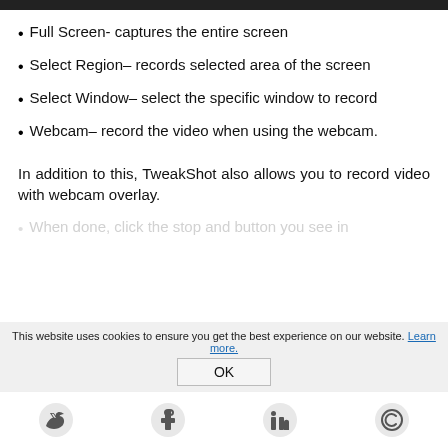[Figure (screenshot): Dark navigation/toolbar bar at the top of the page]
Full Screen- captures the entire screen
Select Region– records selected area of the screen
Select Window– select the specific window to record
Webcam– record the video when using the webcam.
In addition to this, TweakShot also allows you to record video with webcam overlay.
When done, click the stop and button you see in
This website uses cookies to ensure you get the best experience on our website. Learn more.
OK
[Figure (infographic): Social media icons row: Twitter, Facebook, LinkedIn, Copyright/other icon]